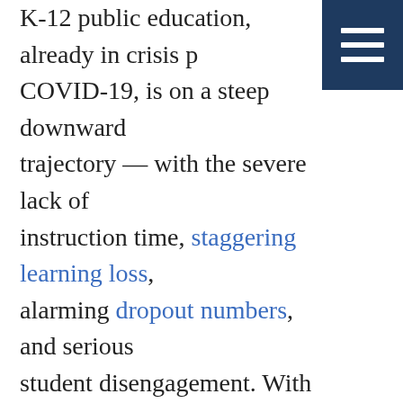[Figure (other): Dark navy blue hamburger menu icon button in the top-right corner with three white horizontal lines]
K-12 public education, already in crisis pre-COVID-19, is on a steep downward trajectory — with the severe lack of instruction time, staggering learning loss, alarming dropout numbers, and serious student disengagement. With half of the schools closed nationwide, just six weeks shy of a full year of no in-person instruction, it's the perfect time for a K-12 redesign.
Before considering what a redesign might look like, we should first consider that implementing the needed changes will require bold leadership. After 65 years as an executive consultant and authoring nearly